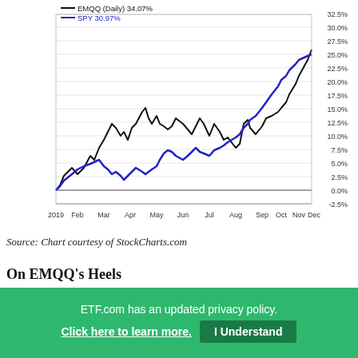[Figure (line-chart): Line chart comparing EMQQ (Daily) 34.07% vs SPY 30.97% performance over 2019, with x-axis showing months from 2019 through Dec and y-axis showing percentage from -2.5% to 32.5%.]
Source: Chart courtesy of StockCharts.com
On EMQQ’s Heels
A look at the best-performing emerging market ETFs last year shows that EMQQ—the leader—was followed by other funds. ETFs by...